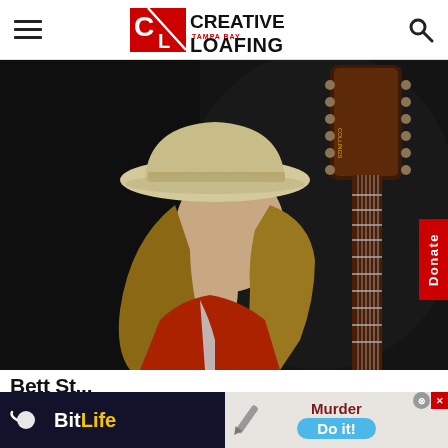Creative Loafing Tampa Bay
[Figure (photo): A young man with long blonde-brown hair wearing a beige cowboy hat and red jacket, shown in profile, with the neck and headstock of a sunburst electric guitar (appears to be a Collings or similar brand) visible beside him, against a dark background.]
B...tt St... (partially visible article title)
[Figure (screenshot): Mobile advertisement banner: left side shows BitLife app logo (dark background, sperm icon, BitLife in white/yellow text); right side shows a game ad with 'Murder' text and 'Do it!' blue pill button, with pencil graphic and close/X buttons in corner.]